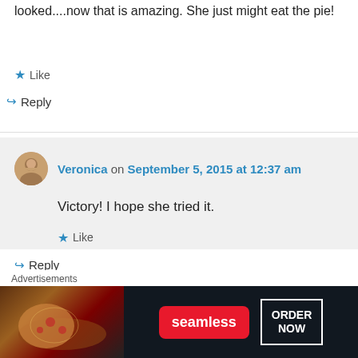looked....now that is amazing. She just might eat the pie!
★ Like
↳ Reply
Veronica on September 5, 2015 at 12:37 am
Victory! I hope she tried it.
★ Like
↳ Reply
Advertisements
[Figure (other): Seamless food delivery advertisement banner with pizza image, red Seamless logo badge, and ORDER NOW button]